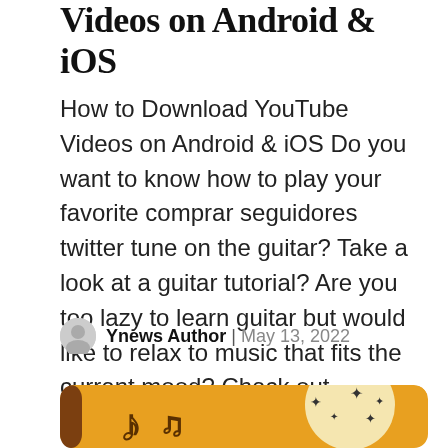Videos on Android & iOS
How to Download YouTube Videos on Android & iOS Do you want to know how to play your favorite comprar seguidores twitter tune on the guitar? Take a look at a guitar tutorial? Are you too lazy to learn guitar but would like to relax to music that fits the current mood? Check out YouTube [...]
Ynews Author | May 13, 2022
[Figure (illustration): Yellow/orange background illustration with music notes and stars, partial YouTube-related artwork visible at bottom of page]